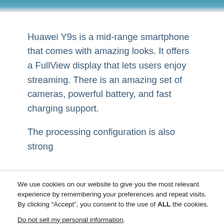[Figure (photo): Top portion of a smartphone image, cropped, showing the top edge of the device against a light background.]
Huawei Y9s is a mid-range smartphone that comes with amazing looks. It offers a FullView display that lets users enjoy streaming. There is an amazing set of cameras, powerful battery, and fast charging support.
The processing configuration is also strong
We use cookies on our website to give you the most relevant experience by remembering your preferences and repeat visits. By clicking “Accept”, you consent to the use of ALL the cookies.
Do not sell my personal information.
Cookie settings
ACCEPT